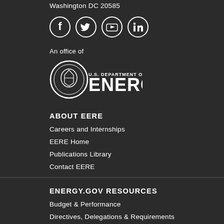Washington DC 20585
[Figure (illustration): Social media icons: Facebook, Twitter, YouTube, LinkedIn — white icons in dark circular outlines]
An office of
[Figure (logo): U.S. Department of Energy logo — circular seal with eagle and text 'U.S. DEPARTMENT OF ENERGY' and large 'ENERGY' text]
ABOUT EERE
Careers and Internships
EERE Home
Publications Library
Contact EERE
ENERGY.GOV RESOURCES
Budget & Performance
Directives, Delegations & Requirements